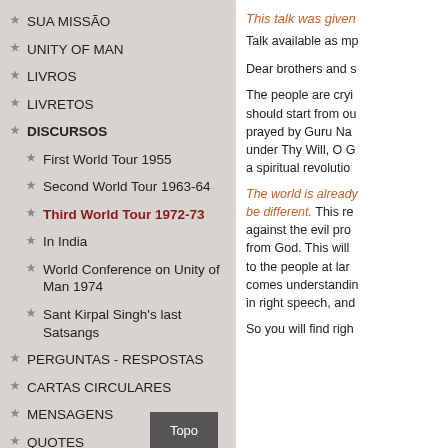SUA MISSÃO
UNITY OF MAN
LIVROS
LIVRETOS
DISCURSOS
First World Tour 1955
Second World Tour 1963-64
Third World Tour 1972-73
In India
World Conference on Unity of Man 1974
Sant Kirpal Singh's last Satsangs
PERGUNTAS - RESPOSTAS
CARTAS CIRCULARES
MENSAGENS
QUOTES
This talk was given
Talk available as mp
Dear brothers and s
The people are cryi should start from ou prayed by Guru Na under Thy Will, O G a spiritual revolutio
The world is already be different. This re against the evil pro from God. This will to the people at lar comes understandin in right speech, and
So you will find righ